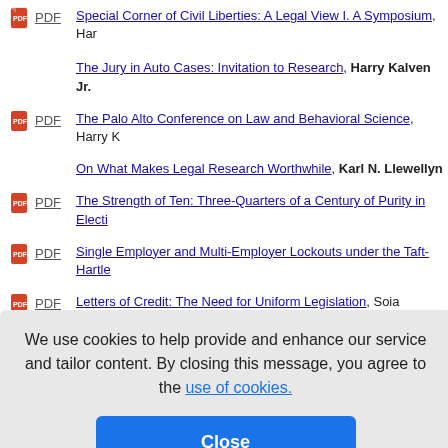PDF Special Corner of Civil Liberties: A Legal View I. A Symposium, Har...
The Jury in Auto Cases: Invitation to Research, Harry Kalven Jr.
PDF The Palo Alto Conference on Law and Behavioral Science, Harry K...
On What Makes Legal Research Worthwhile, Karl N. Llewellyn
PDF The Strength of Ten: Three-Quarters of a Century of Purity in Electi...
PDF Single Employer and Multi-Employer Lockouts under the Taft-Hartle...
PDF Letters of Credit: The Need for Uniform Legislation, Soia Mentschik...
...tein
...ax Rheinstein...
We use cookies to help provide and enhance our service and tailor content. By closing this message, you agree to the use of cookies.
Conflict Avoidance in Succession Planning, Max Rheinstein and Eu...